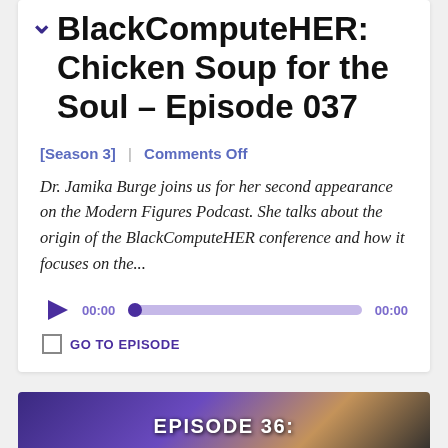BlackComputeHER: Chicken Soup for the Soul – Episode 037
[Season 3]  |  Comments Off
Dr. Jamika Burge joins us for her second appearance on the Modern Figures Podcast. She talks about the origin of the BlackComputeHER conference and how it focuses on the...
[Figure (infographic): Audio player widget with play button, progress bar showing 00:00 timestamps, and a GO TO EPISODE checkbox link]
[Figure (photo): Bottom of page showing Episode 36 banner with people in background]